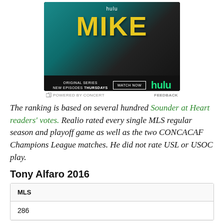[Figure (advertisement): Hulu advertisement for 'MIKE' original series. Black background with teal/dark gradient, large yellow 'MIKE' text, 'hulu' in white at top, bottom bar with 'ORIGINAL SERIES NEW EPISODES THURSDAYS', 'WATCH NOW' button, and green 'hulu' logo.]
POWERED BY CONCERT   FEEDBACK
The ranking is based on several hundred Sounder at Heart readers' votes. Realio rated every single MLS regular season and playoff game as well as the two CONCACAF Champions League matches. He did not rate USL or USOC play.
Tony Alfaro 2016
| MLS |
| --- |
| 286 |